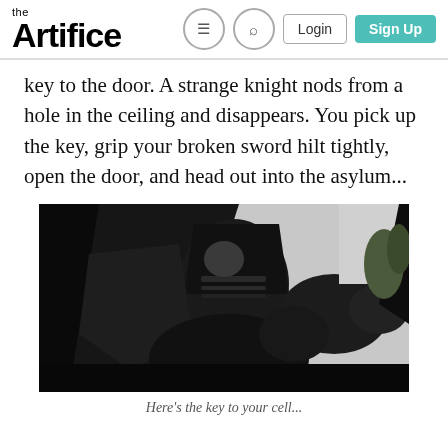the Artifice — Login — Sign Up
key to the door. A strange knight nods from a hole in the ceiling and disappears. You pick up the key, grip your broken sword hilt tightly, open the door, and head out into the asylum...
[Figure (photo): Dark knight in black armor holding a shield, photographed from below against a light background]
Here's the key to your cell...
(partial bottom text)